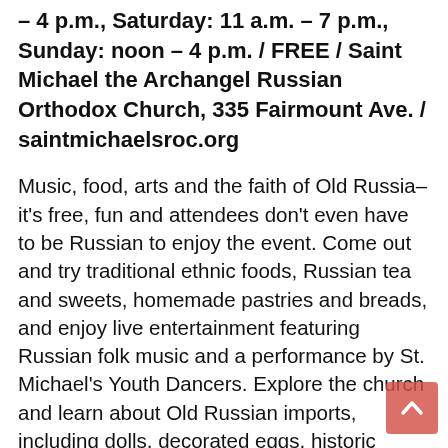– 4 p.m., Saturday: 11 a.m. – 7 p.m., Sunday: noon – 4 p.m. / FREE / Saint Michael the Archangel Russian Orthodox Church, 335 Fairmount Ave. / saintmichaelsroc.org
Music, food, arts and the faith of Old Russia–it's free, fun and attendees don't even have to be Russian to enjoy the event. Come out and try traditional ethnic foods, Russian tea and sweets, homemade pastries and breads, and enjoy live entertainment featuring Russian folk music and a performance by St. Michael's Youth Dancers. Explore the church and learn about Old Russian imports, including dolls, decorated eggs, historic books, art and much more. This free, three-day event is perfect for anyone. Bring friends and invite family. Even if you just go for the food, you're bound to see something that catches your eye. So, get out of your little apartment or dorm room and let some new culture into your life.